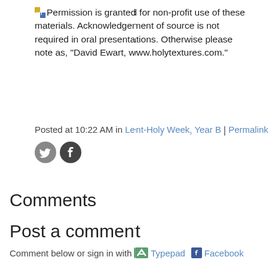Permission is granted for non-profit use of these materials. Acknowledgement of source is not required in oral presentations. Otherwise please note as, "David Ewart, www.holytextures.com."
Posted at 10:22 AM in Lent-Holy Week, Year B | Permalink
[Figure (other): Twitter and Facebook social share icons (circular grey and dark grey buttons)]
Comments
Post a comment
Comment below or sign in with Typepad Facebook